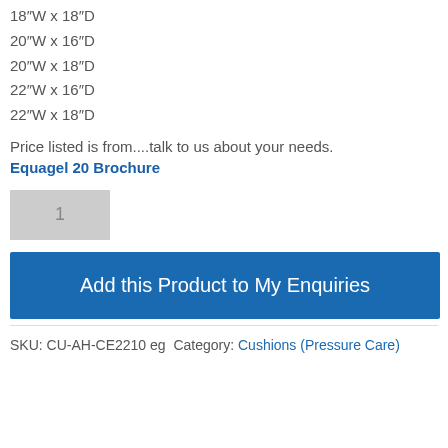18″W x 18″D
20″W x 16″D
20″W x 18″D
22″W x 16″D
22″W x 18″D
Price listed is from....talk to us about your needs.
Equagel 20 Brochure
1
Add this Product to My Enquiries
SKU: CU-AH-CE2210 eg  Category: Cushions (Pressure Care)